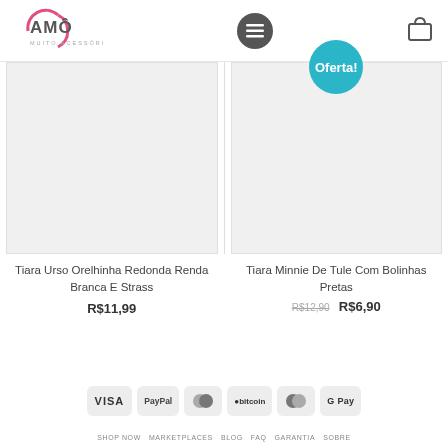[Figure (logo): Amô Muito Acessórios logo - pink arc with text]
[Figure (screenshot): Product image placeholder left - Tiara Urso]
[Figure (screenshot): Product image placeholder right - Tiara Minnie with Oferta badge]
Tiara Urso Orelhinha Redonda Renda Branca E Strass
R$11,99
Tiara Minnie De Tule Com Bolinhas Pretas
R$12,90  R$6,90
[Figure (infographic): Payment method badges: VISA, PayPal, MasterCard, Bitcoin, Maestro, G Pay]
SHOP NOW   MARKETPLACES   BLOG   FAQ   GARANTIA   SOBRE